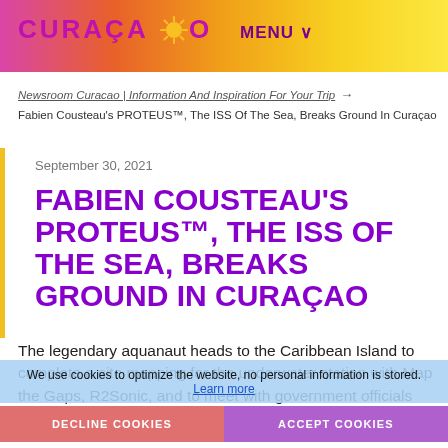CURAÇAO — MENU
Newsroom Curacao | Information And Inspiration For Your Trip →
Fabien Cousteau's PROTEUS™, The ISS Of The Sea, Breaks Ground In Curaçao
September 30, 2021
FABIEN COUSTEAU'S PROTEUS™, THE ISS OF THE SEA, BREAKS GROUND IN CURAÇAO
The legendary aquanaut heads to the Caribbean Island to complete a site mapping for the underwater station with Map the Gaps, R2Sonic, and to meet with government officials
We use cookies to optimize the website, no personal information is stored. Learn more
DECLINE COOKIES   ACCEPT COOKIES